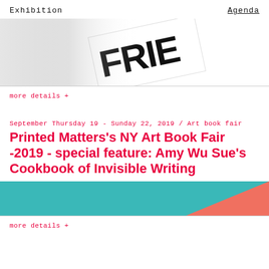Exhibition   Agenda
[Figure (photo): Partial view of a book or printed matter cover with bold black text reading 'FRIE...' on white background, shown at an angle with gray gradient overlay]
more details +
September Thursday 19 - Sunday 22, 2019 / Art book fair
Printed Matters's NY Art Book Fair -2019 - special feature: Amy Wu Sue's Cookbook of Invisible Writing
[Figure (photo): Teal/turquoise background with a salmon/coral colored triangular book cover shape in the lower right]
more details +